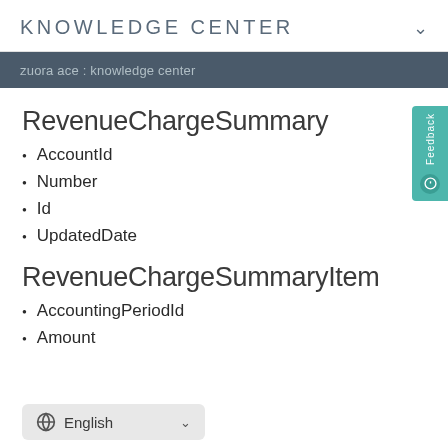KNOWLEDGE CENTER
zuora ace : knowledge center
RevenueChargeSummary
AccountId
Number
Id
UpdatedDate
RevenueChargeSummaryItem
AccountingPeriodId
Amount